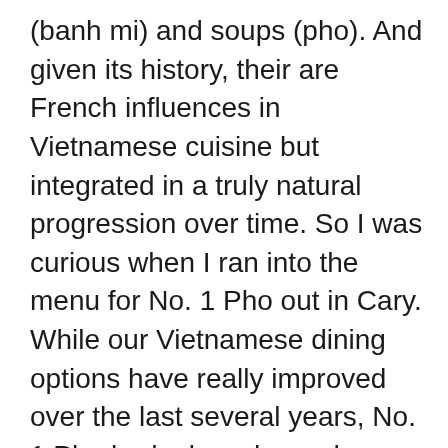(banh mi) and soups (pho). And given its history, their are French influences in Vietnamese cuisine but integrated in a truly natural progression over time. So I was curious when I ran into the menu for No. 1 Pho out in Cary. While our Vietnamese dining options have really improved over the last several years, No. 1 Pho had a broader and more diverse menu than I've seen elsewhere. So I decide to take a trip out to W. Cary to check out this newest, Vietnamese find!